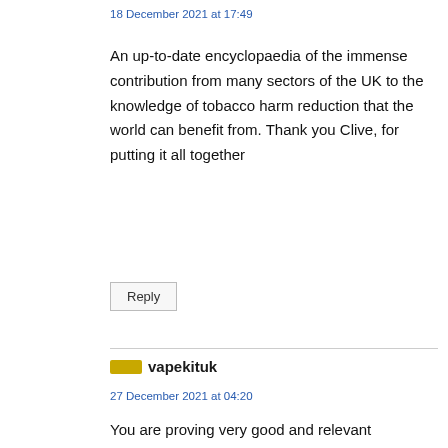18 December 2021 at 17:49
An up-to-date encyclopaedia of the immense contribution from many sectors of the UK to the knowledge of tobacco harm reduction that the world can benefit from. Thank you Clive, for putting it all together
Reply
vapekituk
27 December 2021 at 04:20
You are proving very good and relevant information.